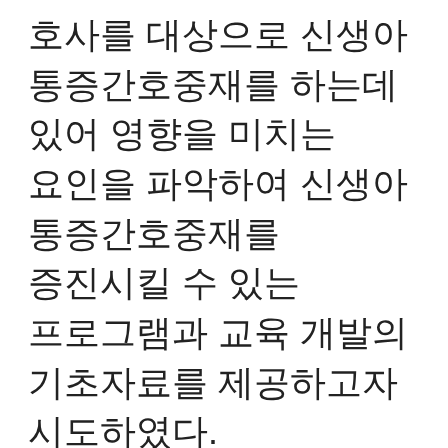호사를 대상으로 신생아 통증간호중재를 하는데 있어 영향을 미치는 요인을 파악하여 신생아 통증간호중재를 증진시킬 수 있는 프로그램과 교육 개발의 기초자료를 제공하고자 시도하였다.
  본 연구의 종속변수인 신생아 통증간호중재 중 약물적 통증중재법 수행은 2.26±0.44점으로 중간 수준의 수행 정도를 나타냈다. 같은 도구로 신생아실 및